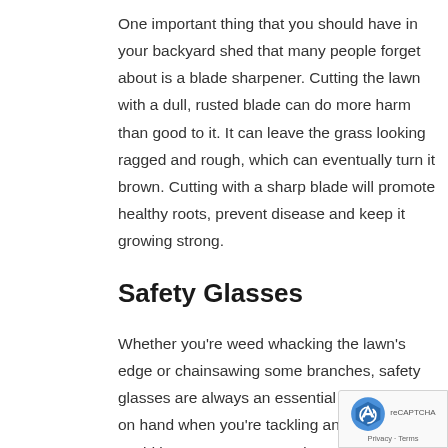One important thing that you should have in your backyard shed that many people forget about is a blade sharpener. Cutting the lawn with a dull, rusted blade can do more harm than good to it. It can leave the grass looking ragged and rough, which can eventually turn it brown. Cutting with a sharp blade will promote healthy roots, prevent disease and keep it growing strong.
Safety Glasses
Whether you're weed whacking the lawn's edge or chainsawing some branches, safety glasses are always an essential item to have on hand when you're tackling any project that could impact your eyes. It doesn't matte